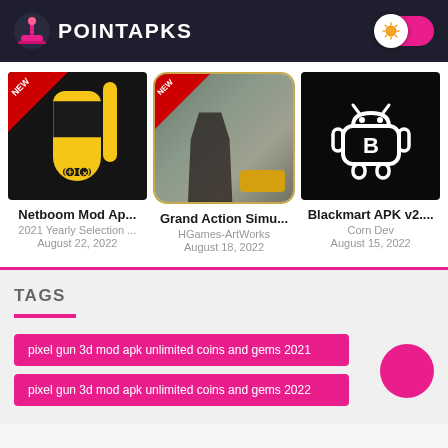POINTAPKS
[Figure (screenshot): Netboom Mod Apk app icon with NEW ribbon banner on dark background]
[Figure (screenshot): Grand Action Simulator game icon with NEW ribbon banner showing action game scene]
[Figure (screenshot): Blackmart APK v2 icon showing Android robot with letter B on black background]
Netboom Mod Ap...
2021 Yearly Selection ...
August 22, 2022
Grand Action Simu...
HGames-ArtWorks
August 18, 2022
Blackmart APK v2....
Corn Dev
August 15, 2022
TAGS
pixel gun 3d mod apk unlimited coins and gems 2021
pixel gun 3d mod apk unlimited coins and gems 2022